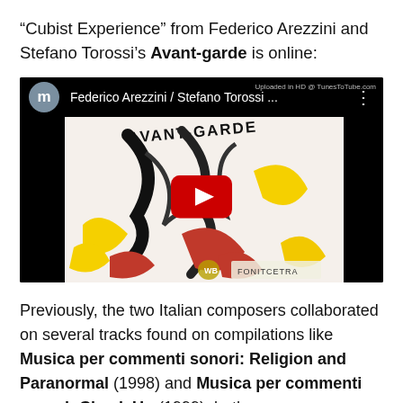“Cubist Experience” from Federico Arezzini and Stefano Torossi’s Avant-garde is online:
[Figure (screenshot): YouTube video player screenshot showing Federico Arezzini / Stefano Torossi album 'Avant-Garde' with album cover art and a red play button overlay. Top bar shows channel avatar with 'm', video title 'Federico Arezzini / Stefano Torossi ...' and three-dot menu. HD badge in top right corner.]
Previously, the two Italian composers collaborated on several tracks found on compilations like Musica per commenti sonori: Religion and Paranormal (1998) and Musica per commenti sonori: Check Up (1999), both on